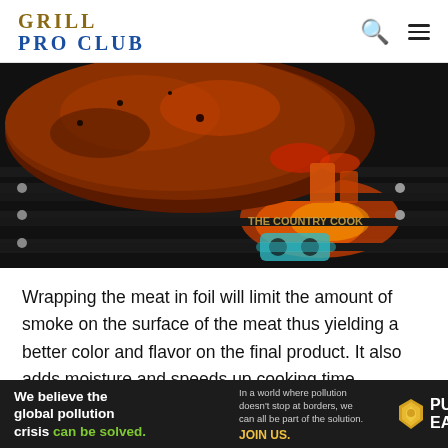GRILL PRO CLUB
[Figure (photo): Close-up photo of grilled meat (ribs) on dark grill grates with flames and sauce visible. Watermark reads 'THE COUNTRY COOK' with a logo of glasses on a pot.]
Wrapping the meat in foil will limit the amount of smoke on the surface of the meat thus yielding a better color and flavor on the final product. It also adds moisture and speeds up cooking time. Wrapping should be done about half way through the cooking process or when internal meat temp is
[Figure (infographic): Advertisement banner: 'We believe the global pollution crisis can be solved.' with Pure Earth logo. Text: 'In a world where pollution doesn't stop at borders, we can all be part of the solution. JOIN US.']